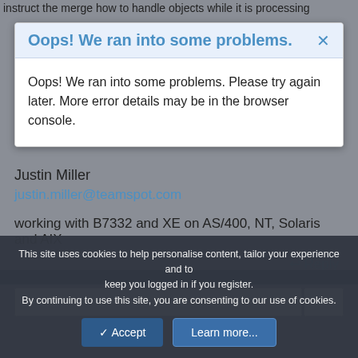instruct the merge how to handle objects while it is processing
[Figure (screenshot): Error dialog box with blue header reading 'Oops! We ran into some problems.' and body text 'Oops! We ran into some problems. Please try again later. More error details may be in the browser console.']
Justin Miller
justin.miller@teamspot.com
working with B7332 and XE on AS/400, NT, Solaris and AIX
Reply
This site uses cookies to help personalise content, tailor your experience and to keep you logged in if you register.
By continuing to use this site, you are consenting to our use of cookies.
Accept  Learn more...